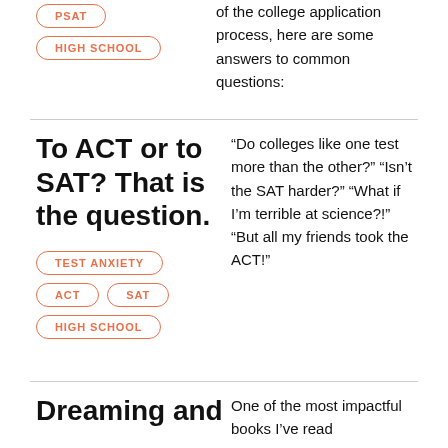PSAT
HIGH SCHOOL
of the college application process, here are some answers to common questions:
To ACT or to SAT? That is the question.
TEST ANXIETY
ACT
SAT
HIGH SCHOOL
“Do colleges like one test more than the other?” “Isn’t the SAT harder?” “What if I’m terrible at science?!” “But all my friends took the ACT!”
Dreaming and
One of the most impactful books I’ve read